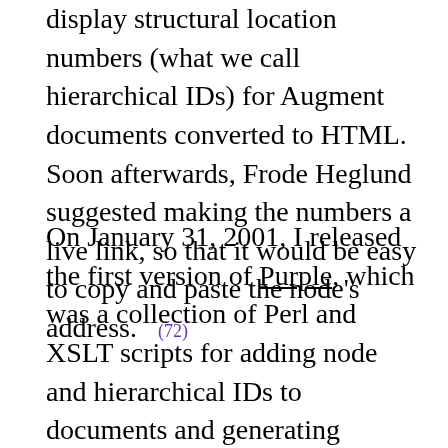display structural location numbers (what we call hierarchical IDs) for Augment documents converted to HTML. Soon afterwards, Frode Heglund suggested making the numbers a live link, so that it would be easy to copy and paste the node's address. (72)
On January 31, 2001, I released the first version of Purple, which was a collection of Perl and XSLT scripts for adding node and hierarchical IDs to documents and generating HTML with Purple Numbers. I believe my most important contribution at the time was recognizing that node IDs were more useful in a Web context, where documents were largely dynamic, than hierarchical IDs. On April 24, 2001, Murray